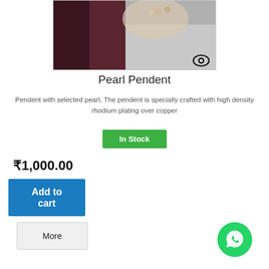[Figure (photo): Hand holding a pearl pendant jewelry item, with a dark sleeve visible. Eye/view icon overlay at bottom right.]
Pearl Pendent
Pendent with selected pearl, The pendent is specially crafted with high density rhodium plating over copper
In Stock
₹1,000.00
Add to cart
More
[Figure (logo): WhatsApp floating action button (green circle with phone/message icon)]